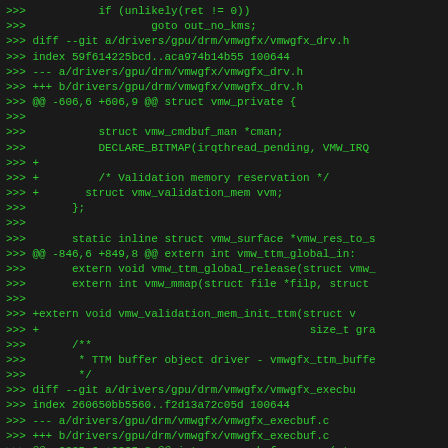>>>           if (unlikely(ret != 0))
>>>                   goto out_no_kms;
>>> diff --git a/drivers/gpu/drm/vmwgfx/vmwgfx_drv.h
>>> index 59f614225bcd..aca974b14b55 100644
>>> --- a/drivers/gpu/drm/vmwgfx/vmwgfx_drv.h
>>> +++ b/drivers/gpu/drm/vmwgfx/vmwgfx_drv.h
>>> @@ -606,6 +606,9 @@ struct vmw_private {
>>>
>>>           struct vmw_cmdbuf_man *cman;
>>>           DECLARE_BITMAP(irqthread_pending, VMW_IRQ
>>> +
>>> +         /* Validation memory reservation */
>>> +       struct vmw_validation_mem vvm;
>>>       };
>>>
>>>       static inline struct vmw_surface *vmw_res_to_s
>>> @@ -846,6 +849,8 @@ extern int vmw_ttm_global_in:
>>>       extern void vmw_ttm_global_release(struct vmw_
>>>       extern int vmw_mmap(struct file *filp, struct
>>>
>>> +extern void vmw_validation_mem_init_ttm(struct v
>>> +                                         size_t gra
>>>       /**
>>>        * TTM buffer object driver - vmwgfx_ttm_buffe
>>>        */
>>> diff --git a/drivers/gpu/drm/vmwgfx/vmwgfx_execbu
>>> index 260650bb5560..f2d13a72c05d 100644
>>> --- a/drivers/gpu/drm/vmwgfx/vmwgfx_execbuf.c
>>> +++ b/drivers/gpu/drm/vmwgfx/vmwgfx_execbuf.c
>>> @@ -3835,6 +3835,8 @@ int vmw_execbuf_process(stu
>>>       struct sync_file *sync_file = NULL;